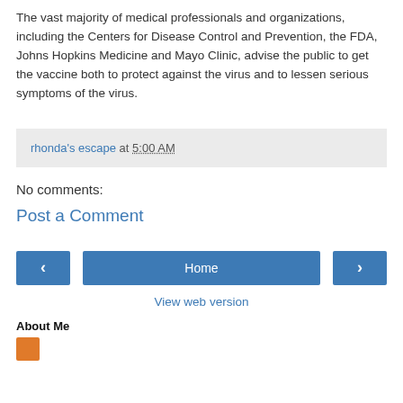The vast majority of medical professionals and organizations, including the Centers for Disease Control and Prevention, the FDA, Johns Hopkins Medicine and Mayo Clinic, advise the public to get the vaccine both to protect against the virus and to lessen serious symptoms of the virus.
rhonda's escape at 5:00 AM
No comments:
Post a Comment
Home
View web version
About Me